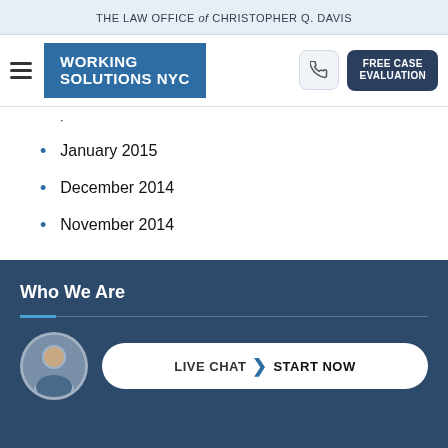THE LAW OFFICE of CHRISTOPHER Q. DAVIS
[Figure (logo): Working Solutions NYC logo - blue rectangle with white bold text]
January 2015
December 2014
November 2014
Who We Are
[Figure (photo): Portrait photo of a man in a suit, displayed in a circular frame]
LIVE CHAT  START NOW